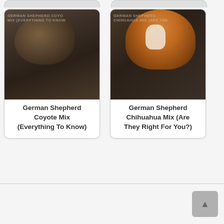[Figure (photo): Card with photo of a German Shepherd Coyote Mix (a coyote-like animal, dark brown fur, side profile). Overlay shows title text. Below the image: 'German Shepherd Coyote Mix (Everything To Know)']
German Shepherd Coyote Mix (Everything To Know)
[Figure (photo): Card with photo of a German Shepherd Chihuahua Mix (orange and white dog, large ears visible). Overlay shows title text. Below the image: 'German Shepherd Chihuahua Mix (Are They Right For You?)']
German Shepherd Chihuahua Mix (Are They Right For You?)